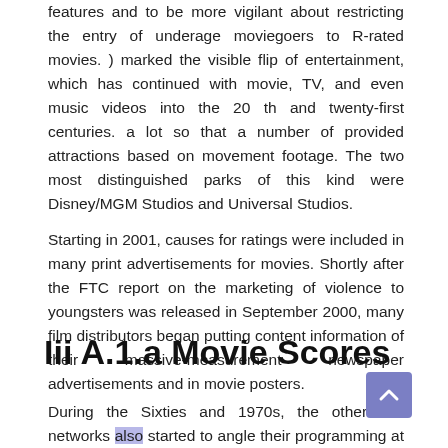features and to be more vigilant about restricting the entry of underage moviegoers to R-rated movies. ) marked the visible flip of entertainment, which has continued with movie, TV, and even music videos into the 20 th and twenty-first centuries. a lot so that a number of provided attractions based on movement footage. The two most distinguished parks of this kind were Disney/MGM Studios and Universal Studios.
Starting in 2001, causes for ratings were included in many print advertisements for movies. Shortly after the FTC report on the marketing of violence to youngsters was released in September 2000, many film distributors began putting content information of their massive-measurement newspaper advertisements and in movie posters.
Iii A.1.a Movie Scores
During the Sixties and 1970s, the other two networks also started to angle their programming at goal audiences as